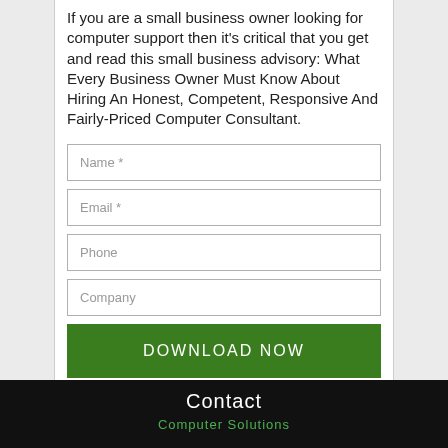If you are a small business owner looking for computer support then it's critical that you get and read this small business advisory: What Every Business Owner Must Know About Hiring An Honest, Competent, Responsive And Fairly-Priced Computer Consultant.
Name *
Email *
Phone
Company
DOWNLOAD NOW
Contact